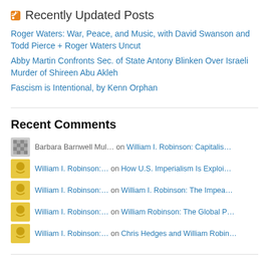Recently Updated Posts
Roger Waters: War, Peace, and Music, with David Swanson and Todd Pierce + Roger Waters Uncut
Abby Martin Confronts Sec. of State Antony Blinken Over Israeli Murder of Shireen Abu Akleh
Fascism is Intentional, by Kenn Orphan
Recent Comments
Barbara Barnwell Mul… on William I. Robinson: Capitalis…
William I. Robinson:… on How U.S. Imperialism Is Exploi…
William I. Robinson:… on William I. Robinson: The Impea…
William I. Robinson:… on William Robinson: The Global P…
William I. Robinson:… on Chris Hedges and William Robin…
Don't Enlist!